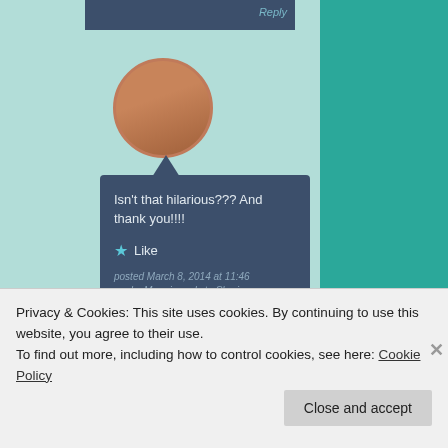[Figure (photo): Circular avatar photo of a woman with blonde hair and sunglasses]
Isn't that hilarious??? And thank you!!!!
★ Like
posted March 8, 2014 at 11:46 am by Mara in reply to Sheri   Reply
LEAVE A REPLY TO MARA
Privacy & Cookies: This site uses cookies. By continuing to use this website, you agree to their use.
To find out more, including how to control cookies, see here: Cookie Policy
Close and accept